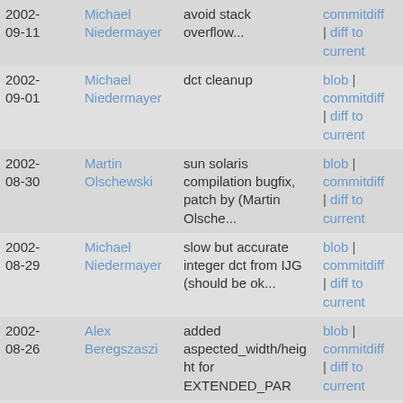| Date | Author | Message | Links |
| --- | --- | --- | --- |
| 2002-09-11 | Michael Niedermayer | avoid stack overflow... | blob | commitdiff | diff to current |
| 2002-09-01 | Michael Niedermayer | dct cleanup | blob | commitdiff | diff to current |
| 2002-08-30 | Martin Olschewski | sun solaris compilation bugfix, patch by (Martin Olsche... | blob | commitdiff | diff to current |
| 2002-08-29 | Michael Niedermayer | slow but accurate integer dct from IJG (should be ok... | blob | commitdiff | diff to current |
| 2002-08-26 | Alex Beregszaszi | added aspected_width/height for EXTENDED_PAR | blob | commitdiff | diff to current |
| 2002-08-25 | Michael Niedermayer | new ratecontrol code | blob | commitdiff | diff to current |